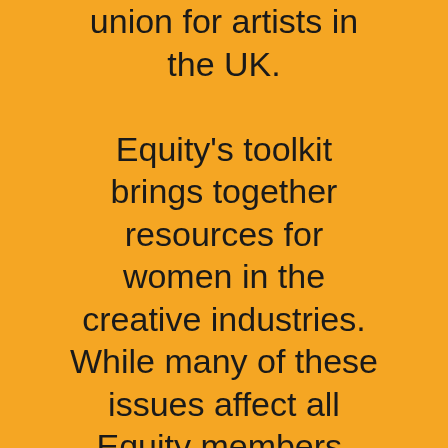union for artists in the UK. Equity's toolkit brings together resources for women in the creative industries. While many of these issues affect all Equity members, women continue to be disproportionately affected by sexual harassment, low pay, caring responsibilities and